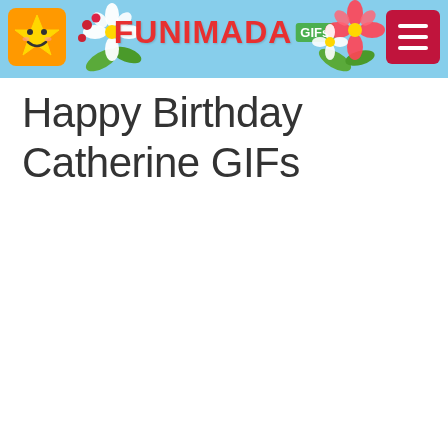FUNIMADA GIFs
Happy Birthday Catherine GIFs